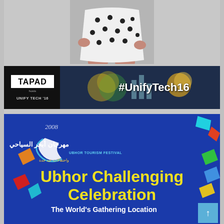[Figure (photo): Photo of a person wearing a white polka-dot dress, cropped to torso/skirt area, centered at top of page]
[Figure (photo): Banner image for TAPAD UNIFY TECH '16 event showing a tablet with dashboard analytics and text '#UnifyTech16']
[Figure (illustration): Blue promotional banner for Ubhor Tourism Festival 2008. Contains Arabic text 'مهرجان أبحر السياحي', English text 'UBHOR TOURISM FESTIVAL', Arabic subtitle, main title 'Ubhor Challenging Celebration', subtitle 'The World's Gathering Location', decorative colorful ribbons, and a scroll-to-top button]